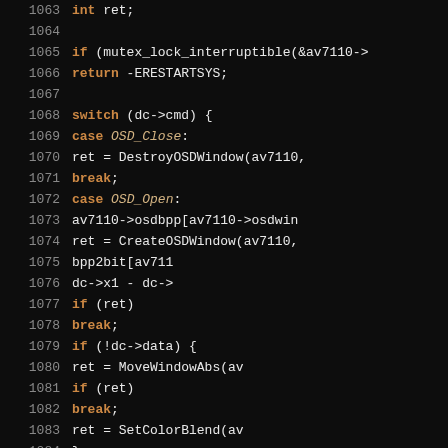[Figure (screenshot): Source code screenshot showing C kernel code with line numbers 1063-1092, dark background, syntax highlighting with orange/tan keywords and white identifiers]